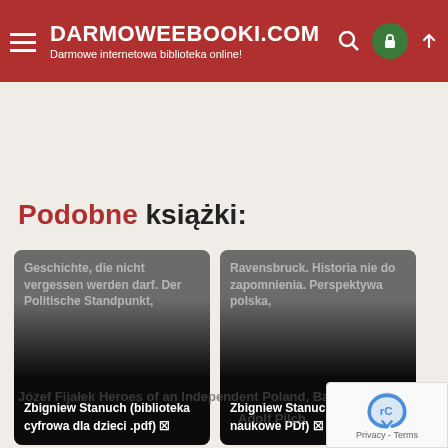DARMOWEEBOOKI.COM — Darmowe internetowa biblioteka online!
Podobne książki:
[Figure (screenshot): Book card 1: Geschichte, die nicht vergessen werden darf. Der Politische Standpunkt, Zbigniew Stanuch (biblioteka cyfrowa dla dzieci .pdf)]
[Figure (screenshot): Book card 2: Ravensbruck. Historia nie do zapomnienia. Perspektywa polska, Zbigniew Stanuch (biblioteki naukowe PDf)]
Józef Fijałek Heroes of an Independent Poland, Barbara
Adolf Pilch
[Figure (logo): reCAPTCHA logo with Privacy - Terms text]